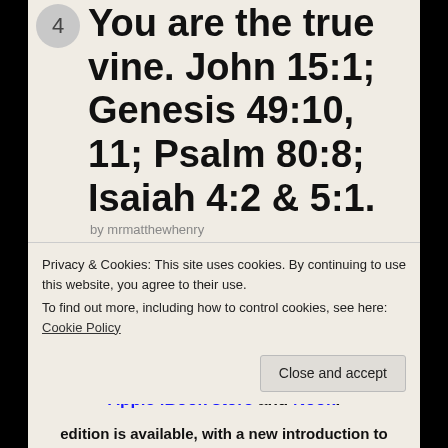You are the true vine. John 15:1; Genesis 49:10, 11; Psalm 80:8; Isaiah 4:2 & 5:1.
by mrmatthewhenry
'A Method for Prayer' by Matthew Henry is free at Scribd. and kindle and Smashwords the Apple iBook store and Nook.
Free King James Bible, click here ePub and mobi for kindle.
Privacy & Cookies: This site uses cookies. By continuing to use this website, you agree to their use.
To find out more, including how to control cookies, see here: Cookie Policy
Close and accept
edition is available, with a new introduction to